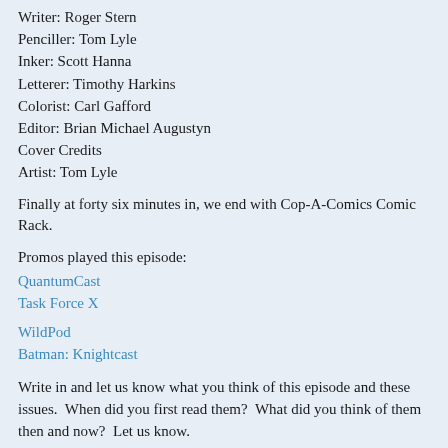Writer: Roger Stern
Penciller: Tom Lyle
Inker: Scott Hanna
Letterer: Timothy Harkins
Colorist: Carl Gafford
Editor: Brian Michael Augustyn
Cover Credits
Artist: Tom Lyle
Finally at forty six minutes in, we end with Cop-A-Comics Comic Rack.
Promos played this episode:
QuantumCast
Task Force X

WildPod
Batman: Knightcast
Write in and let us know what you think of this episode and these issues.  When did you first read them?  What did you think of them then and now?  Let us know.